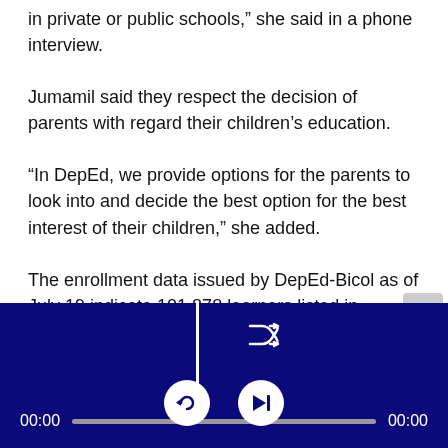in private or public schools,” she said in a phone interview.
Jumamil said they respect the decision of parents with regard their children’s education.
“In DepEd, we provide options for the parents to look into and decide the best option for the best interest of their children,” she added.
The enrollment data issued by DepEd-Bicol as of July 19 indicate 101,878 learners listed in kindergarten; 726,981 in elementary; 198,164 in senior high school; 493,970 in junior high school; 5,723 learners with disabilities; 38,097 in the
[Figure (screenshot): Media player control bar with dark blue background, a vertical white divider line, shuffle icon, playback controls (replay and skip-next buttons), time display showing 00:00 on both sides, and a progress bar.]